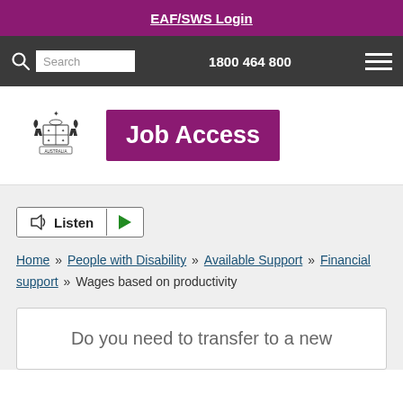EAF/SWS Login
[Figure (screenshot): Navigation bar with search box, phone number 1800 464 800, and hamburger menu]
[Figure (logo): Australian Government crest and Job Access logo]
[Figure (other): Listen button with play control]
Home » People with Disability » Available Support » Financial support » Wages based on productivity
Do you need to transfer to a new